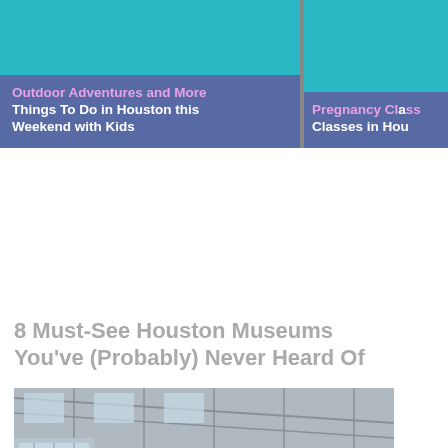[Figure (photo): Two article thumbnails at top: left shows teal/purple banner reading 'Outdoor Adventures and More Things To Do in Houston this Weekend with Kids'; right shows teal/purple banner reading 'Pregnancy Classes in Hou[ston]']
8 Must-See Houston Museums You've (Probably) Never Heard Of
[Figure (photo): Photo of a vintage tan/gold airplane with 'N7' visible on its side, displayed inside a hangar with large windows and metal roof structure]